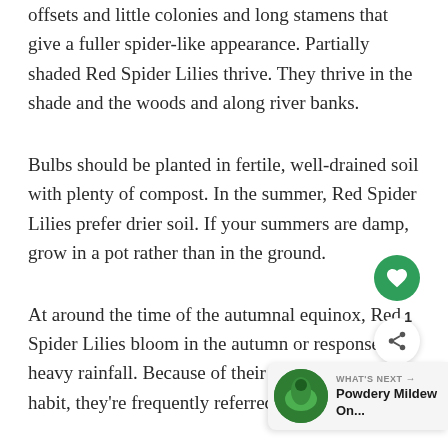offsets and little colonies and long stamens that give a fuller spider-like appearance. Partially shaded Red Spider Lilies thrive. They thrive in the shade and the woods and along river banks.
Bulbs should be planted in fertile, well-drained soil with plenty of compost. In the summer, Red Spider Lilies prefer drier soil. If your summers are damp, grow in a pot rather than in the ground.
At around the time of the autumnal equinox, Red Spider Lilies bloom in the autumn or response to heavy rainfall. Because of their unusual growth habit, they're frequently referred to as s...